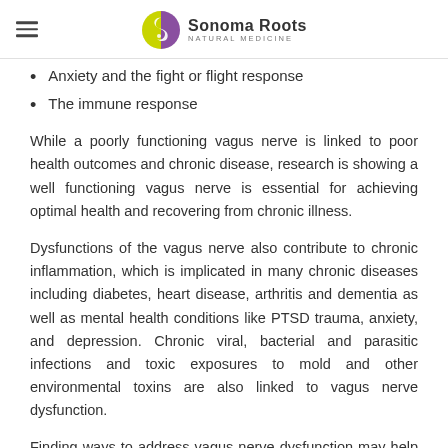Sonoma Roots Natural Medicine
Anxiety and the fight or flight response
The immune response
While a poorly functioning vagus nerve is linked to poor health outcomes and chronic disease, research is showing a well functioning vagus nerve is essential for achieving optimal health and recovering from chronic illness.
Dysfunctions of the vagus nerve also contribute to chronic inflammation, which is implicated in many chronic diseases including diabetes, heart disease, arthritis and dementia as well as mental health conditions like PTSD trauma, anxiety, and depression. Chronic viral, bacterial and parasitic infections and toxic exposures to mold and other environmental toxins are also linked to vagus nerve dysfunction.
Finding ways to address vagus nerve dysfunction may help to